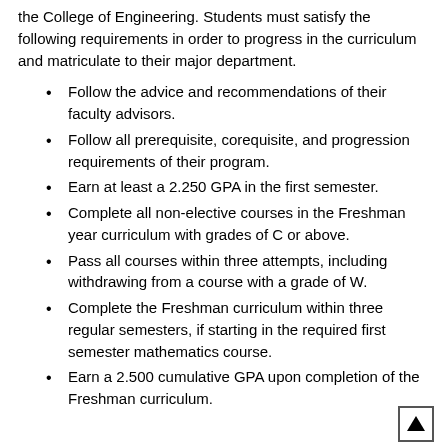the College of Engineering. Students must satisfy the following requirements in order to progress in the curriculum and matriculate to their major department.
Follow the advice and recommendations of their faculty advisors.
Follow all prerequisite, corequisite, and progression requirements of their program.
Earn at least a 2.250 GPA in the first semester.
Complete all non-elective courses in the Freshman year curriculum with grades of C or above.
Pass all courses within three attempts, including withdrawing from a course with a grade of W.
Complete the Freshman curriculum within three regular semesters, if starting in the required first semester mathematics course.
Earn a 2.500 cumulative GPA upon completion of the Freshman curriculum.